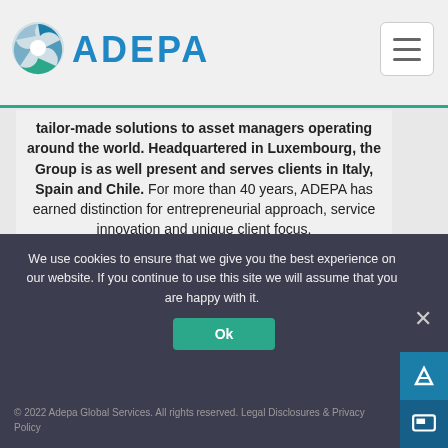ADEPA
tailor-made solutions to asset managers operating around the world. Headquartered in Luxembourg, the Group is as well present and serves clients in Italy, Spain and Chile. For more than 40 years, ADEPA has earned distinction for entrepreneurial approach, service innovation and unique client focus.
Follow us on LinkedIn to get the latest news.
Contact: pr@adepa.com / support-investoring@adepa.com
We use cookies to ensure that we give you the best experience on our website. If you continue to use this site we will assume that you are happy with it.
© 2022 Adepa Global Services. All rights reserved. Legal Disclosures & Privacy Policy